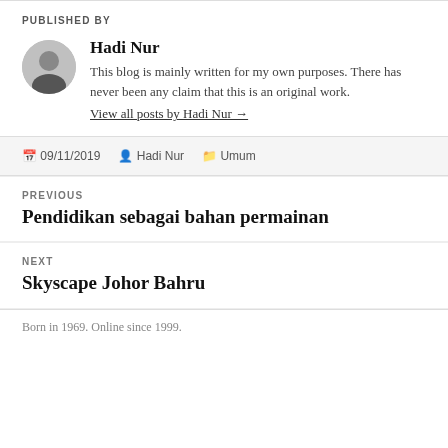PUBLISHED BY
Hadi Nur
This blog is mainly written for my own purposes. There has never been any claim that this is an original work.
View all posts by Hadi Nur →
09/11/2019   Hadi Nur   Umum
PREVIOUS
Pendidikan sebagai bahan permainan
NEXT
Skyscape Johor Bahru
Born in 1969. Online since 1999.